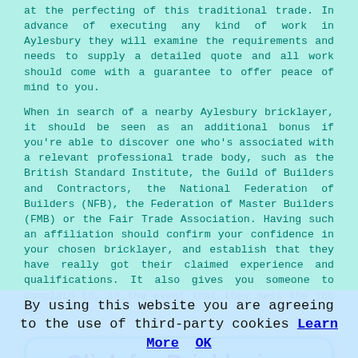at the perfecting of this traditional trade. In advance of executing any kind of work in Aylesbury they will examine the requirements and needs to supply a detailed quote and all work should come with a guarantee to offer peace of mind to you.
When in search of a nearby Aylesbury bricklayer, it should be seen as an additional bonus if you're able to discover one who's associated with a relevant professional trade body, such as the British Standard Institute, the Guild of Builders and Contractors, the National Federation of Builders (NFB), the Federation of Master Builders (FMB) or the Fair Trade Association. Having such an affiliation should confirm your confidence in your chosen bricklayer, and establish that they have really got their claimed experience and qualifications. It also gives you someone to complain to, in the event that they mess the job up.
[Figure (other): Cyan rounded rectangle button with bold blue text 'Click for Bricklaying Quotes >>']
Bricklaying can be carried out in Aylesbury and also in:
By using this website you are agreeing to the use of third-party cookies Learn More  OK